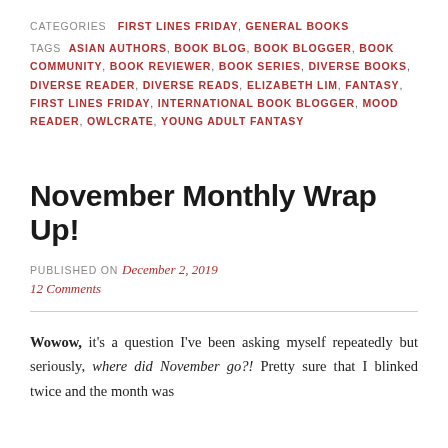CATEGORIES  FIRST LINES FRIDAY, GENERAL BOOKS
TAGS  ASIAN AUTHORS, BOOK BLOG, BOOK BLOGGER, BOOK COMMUNITY, BOOK REVIEWER, BOOK SERIES, DIVERSE BOOKS, DIVERSE READER, DIVERSE READS, ELIZABETH LIM, FANTASY, FIRST LINES FRIDAY, INTERNATIONAL BOOK BLOGGER, MOOD READER, OWLCRATE, YOUNG ADULT FANTASY
November Monthly Wrap Up!
PUBLISHED ON December 2, 2019
12 Comments
Wowow, it's a question I've been asking myself repeatedly but seriously, where did November go?! Pretty sure that I blinked twice and the month was